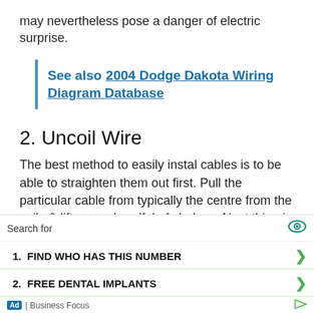may nevertheless pose a danger of electric surprise.
See also  2004 Dodge Dakota Wiring Diagram Database
2. Uncoil Wire
The best method to easily instal cables is to be able to straighten them out first. Pull the particular cable from typically the centre from the coils & lift a new handful of shelves. Next thing is to toss them across the floor as though you'... ed, it he... spac...